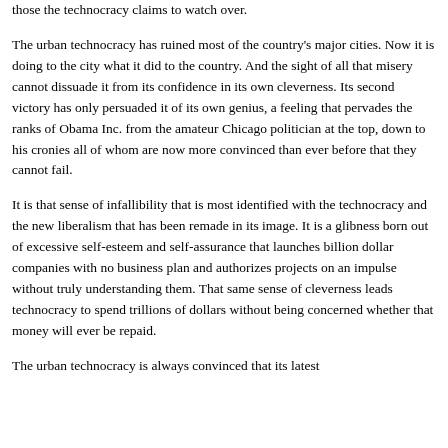those the technocracy claims to watch over.
The urban technocracy has ruined most of the country's major cities. Now it is doing to the city what it did to the country. And the sight of all that misery cannot dissuade it from its confidence in its own cleverness. Its second victory has only persuaded it of its own genius, a feeling that pervades the ranks of Obama Inc. from the amateur Chicago politician at the top, down to his cronies all of whom are now more convinced than ever before that they cannot fail.
It is that sense of infallibility that is most identified with the technocracy and the new liberalism that has been remade in its image. It is a glibness born out of excessive self-esteem and self-assurance that launches billion dollar companies with no business plan and authorizes projects on an impulse without truly understanding them. That same sense of cleverness leads technocracy to spend trillions of dollars without being concerned whether that money will ever be repaid.
The urban technocracy is always convinced that its latest policy is the right result, but most of us from city origins...